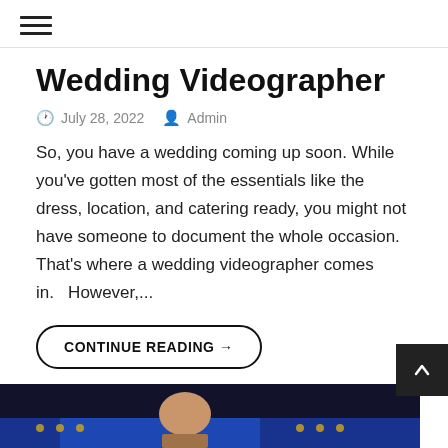≡ (hamburger menu)
Wedding Videographer
July 28, 2022  Admin
So, you have a wedding coming up soon. While you've gotten most of the essentials like the dress, location, and catering ready, you might not have someone to document the whole occasion. That's where a wedding videographer comes in.   However,...
CONTINUE READING →
[Figure (photo): Dark photo at the bottom of the page showing a person with blue stage lighting and small yellow light dots in a dark venue]